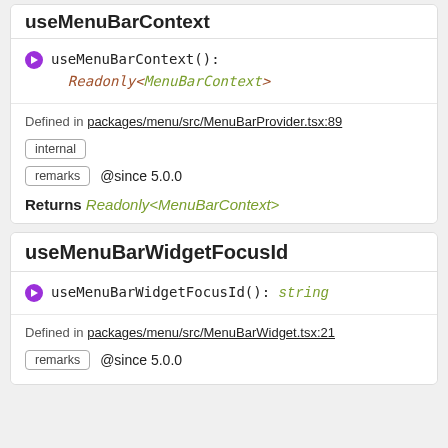useMenuBarContext
useMenuBarContext(): Readonly<MenuBarContext>
Defined in packages/menu/src/MenuBarProvider.tsx:89
internal
remarks @since 5.0.0
Returns Readonly<MenuBarContext>
useMenuBarWidgetFocusId
useMenuBarWidgetFocusId(): string
Defined in packages/menu/src/MenuBarWidget.tsx:21
remarks @since 5.0.0